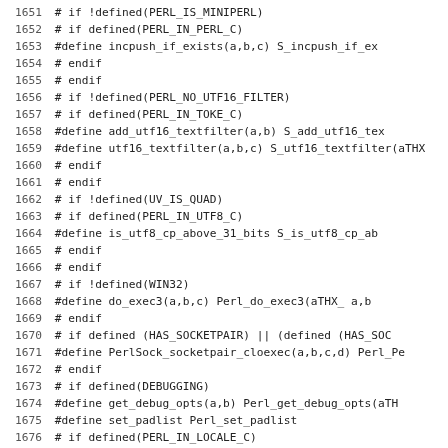[Figure (other): Source code listing showing C preprocessor define macros and conditional compilation directives, lines 1651–1682, in monospace font.]